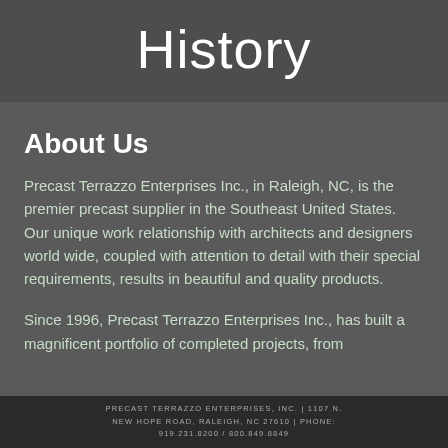History
About Us
Precast Terrazzo Enterprises Inc., in Raleigh, NC, is the premier precast supplier in the Southeast United States. Our unique work relationship with architects and designers world wide, coupled with attention to detail with their special requirements, results in beautiful and quality products.
Since 1996, Precast Terrazzo Enterprises Inc., has built a magnificent portfolio of completed projects, from reputed homes to major, the ones are regarded and reliable precast suppliers in the
PRECAST TERRAZZO ENTERPRISES, INC. | 1107 N. NEW HOPE ROAD, RALEIGH, NC 27610 | PHONE: 919.231.8200 / 800.849.8849